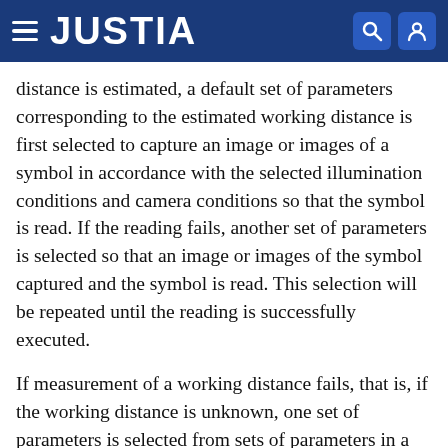JUSTIA
distance is estimated, a default set of parameters corresponding to the estimated working distance is first selected to capture an image or images of a symbol in accordance with the selected illumination conditions and camera conditions so that the symbol is read. If the reading fails, another set of parameters is selected so that an image or images of the symbol captured and the symbol is read. This selection will be repeated until the reading is successfully executed.
If measurement of a working distance fails, that is, if the working distance is unknown, one set of parameters is selected from sets of parameters in a predetermined order to read a symbol. For example, a parameter set for short distance is first selected from the three sets of parameters. In other words, image capture and image processing for photometric stereo are first executed.